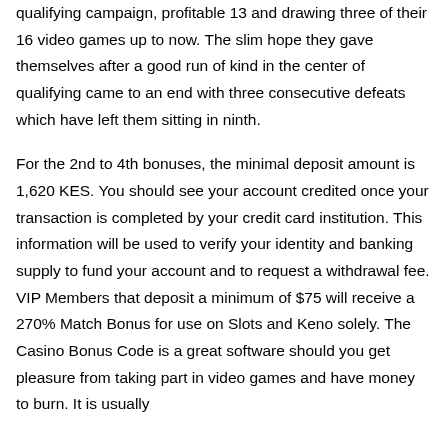qualifying campaign, profitable 13 and drawing three of their 16 video games up to now. The slim hope they gave themselves after a good run of kind in the center of qualifying came to an end with three consecutive defeats which have left them sitting in ninth.
For the 2nd to 4th bonuses, the minimal deposit amount is 1,620 KES. You should see your account credited once your transaction is completed by your credit card institution. This information will be used to verify your identity and banking supply to fund your account and to request a withdrawal fee. VIP Members that deposit a minimum of $75 will receive a 270% Match Bonus for use on Slots and Keno solely. The Casino Bonus Code is a great software should you get pleasure from taking part in video games and have money to burn. It is usually